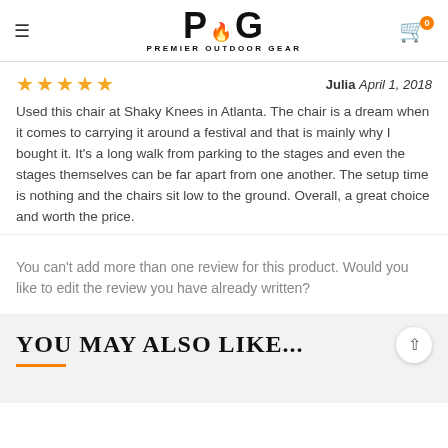POG PREMIER OUTDOOR GEAR
★★★★★  Julia  April 1, 2018
Used this chair at Shaky Knees in Atlanta. The chair is a dream when it comes to carrying it around a festival and that is mainly why I bought it. It's a long walk from parking to the stages and even the stages themselves can be far apart from one another. The setup time is nothing and the chairs sit low to the ground. Overall, a great choice and worth the price.
You can't add more than one review for this product. Would you like to edit the review you have already written?
YOU MAY ALSO LIKE...